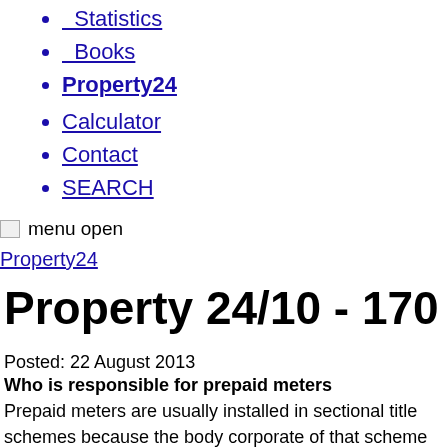Statistics
Books
Property24
Calculator
Contact
SEARCH
[Figure (other): Broken image icon for menu open]
menu open
Property24
Property 24/10 - 170
Posted: 22 August 2013
Who is responsible for prepaid meters
Prepaid meters are usually installed in sectional title schemes because the body corporate of that scheme has deemed it to be necessary.